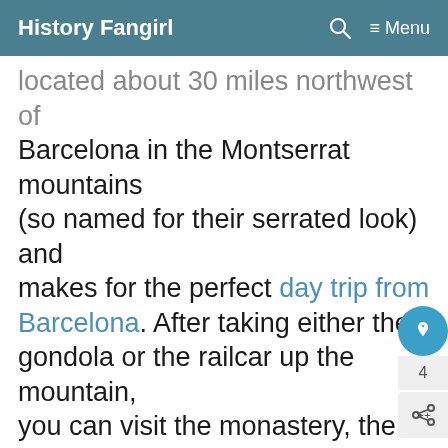History Fangirl
located about 30 miles northwest of Barcelona in the Montserrat mountains (so named for their serrated look) and makes for the perfect day trip from Barcelona. After taking either the gondola or the railcar up the mountain, you can visit the monastery, the basilica (don’t forget your long pants!), an art and archaeology museum, tackle a handful of hiking trails, shop the outdoor market (get the local goat cheese, you won’t be disappointed), and wait your turn in line to touch the orb of the statue of the black Virgin Mary. Having been built in place around the